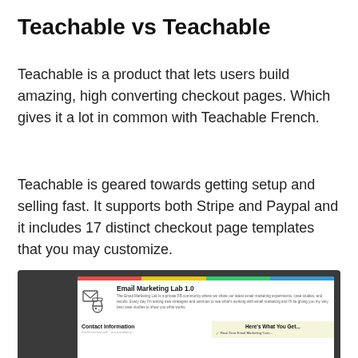Teachable vs Teachable
Teachable is a product that lets users build amazing, high converting checkout pages. Which gives it a lot in common with Teachable French.
Teachable is geared towards getting setup and selling fast. It supports both Stripe and Paypal and it includes 17 distinct checkout page templates that you may customize.
[Figure (screenshot): Screenshot of a Teachable checkout page for 'Email Marketing Lab 1.0' showing a product description, contact information form, and a 'Here's What You Get...' section on a dark background.]